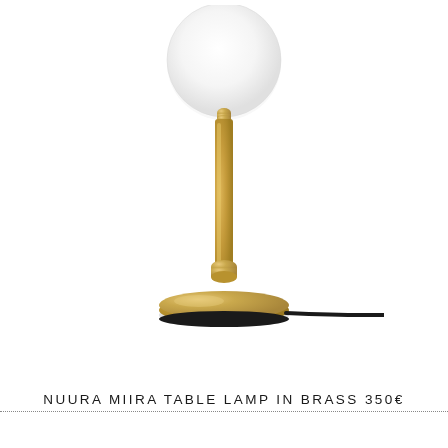[Figure (photo): Nuura Miira table lamp in brass finish with white globe shade and black cord. The lamp has a cylindrical brass stem with a rounded top connector and a flat round brass base. A black fabric cord extends to the right.]
NUURA MIIRA TABLE LAMP IN BRASS 350€